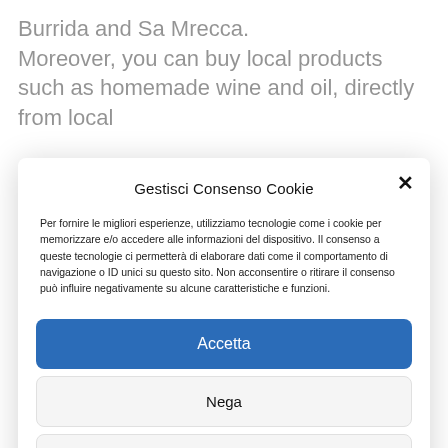Burrida and Sa Mrecca.
Moreover, you can buy local products such as homemade wine and oil, directly from local
Gestisci Consenso Cookie
Per fornire le migliori esperienze, utilizziamo tecnologie come i cookie per memorizzare e/o accedere alle informazioni del dispositivo. Il consenso a queste tecnologie ci permetterà di elaborare dati come il comportamento di navigazione o ID unici su questo sito. Non acconsentire o ritirare il consenso può influire negativamente su alcune caratteristiche e funzioni.
Accetta
Nega
Visualizza le preferenze
Cookie Policy   Privacy Policy